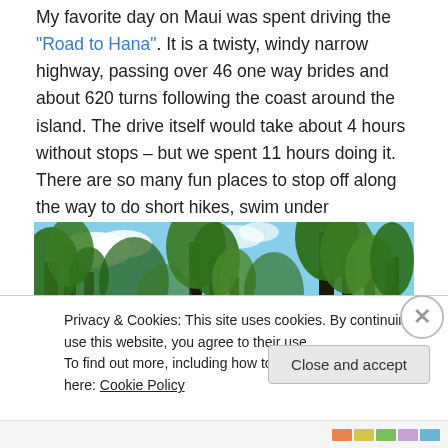My favorite day on Maui was spent driving the "Road to Hana". It is a twisty, windy narrow highway, passing over 46 one way brides and about 620 turns following the coast around the island. The drive itself would take about 4 hours without stops – but we spent 11 hours doing it. There are so many fun places to stop off along the way to do short hikes, swim under waterfalls, or visit beaches, that we ran out of time to do everything we wanted to.
[Figure (photo): Photo of tall trees with green foliage against a partly cloudy blue sky, taken from below looking up.]
Privacy & Cookies: This site uses cookies. By continuing to use this website, you agree to their use.
To find out more, including how to control cookies, see here: Cookie Policy
Close and accept